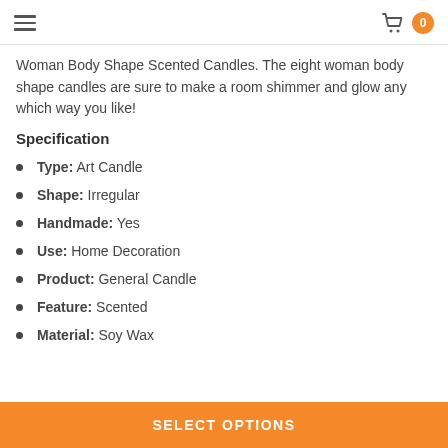hamburger menu | cart 0
Woman Body Shape Scented Candles. The eight woman body shape candles are sure to make a room shimmer and glow any which way you like!
Specification
Type: Art Candle
Shape: Irregular
Handmade: Yes
Use: Home Decoration
Product: General Candle
Feature: Scented
Material: Soy Wax
SELECT OPTIONS